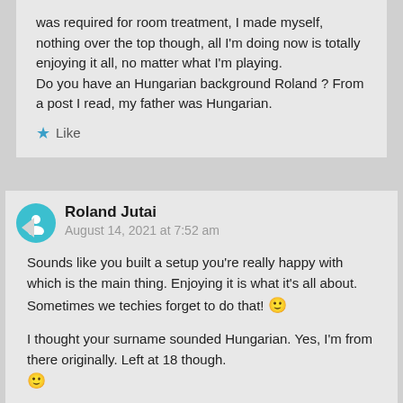was required for room treatment, I made myself, nothing over the top though, all I'm doing now is totally enjoying it all, no matter what I'm playing.
Do you have an Hungarian background Roland ? From a post I read, my father was Hungarian.
Like
Roland Jutai
August 14, 2021 at 7:52 am
Sounds like you built a setup you're really happy with which is the main thing. Enjoying it is what it's all about. Sometimes we techies forget to do that! 🙂
I thought your surname sounded Hungarian. Yes, I'm from there originally. Left at 18 though. 🙂